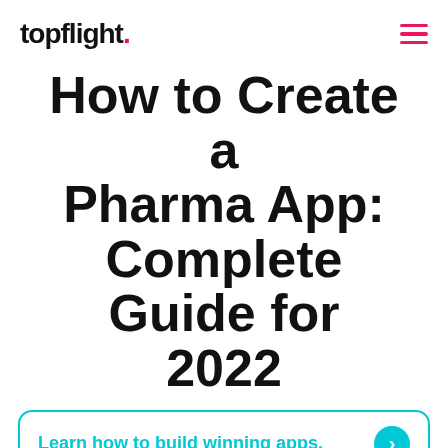topflight.
How to Create a Pharma App: Complete Guide for 2022
Learn how to build winning apps.
Konstantin Kalinin
June 15, 2022